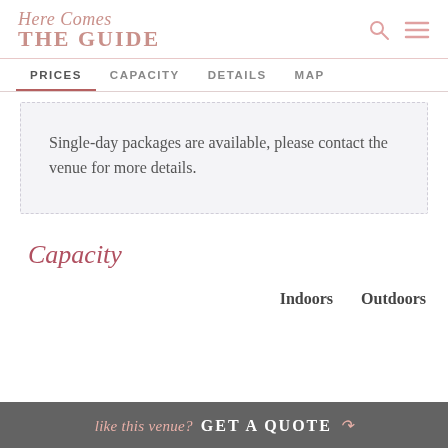Here Comes THE GUIDE
PRICES  CAPACITY  DETAILS  MAP
Single-day packages are available, please contact the venue for more details.
Capacity
Indoors  Outdoors
like this venue? GET A QUOTE